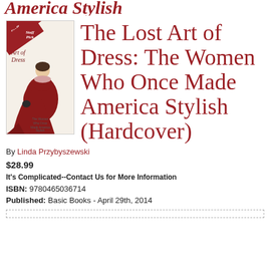America Stylish
[Figure (illustration): Book cover for 'The Lost Art of Dress' with a Staff Pick ribbon badge in red at top left corner, showing an illustrated woman in a red dress kneeling, with small text 'The Women Who Once Made America Stylish' on the cover.]
The Lost Art of Dress: The Women Who Once Made America Stylish (Hardcover)
By Linda Przybyszewski
$28.99
It's Complicated--Contact Us for More Information
ISBN: 9780465036714
Published: Basic Books - April 29th, 2014